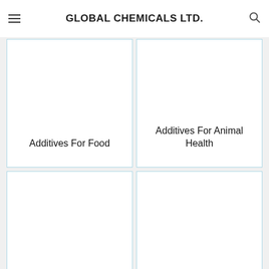GLOBAL CHEMICALS LTD.
Additives For Food
Additives For Animal Health
Chemicals for Cosmetics
Chemicals For Textiles